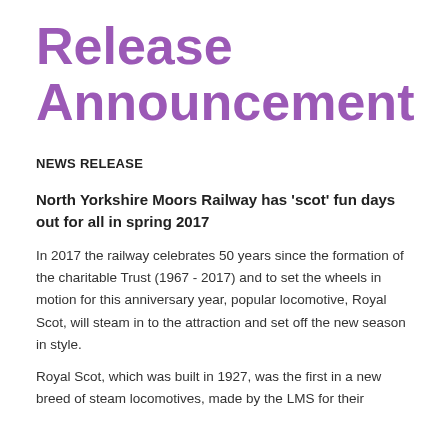Release Announcement
NEWS RELEASE
North Yorkshire Moors Railway has 'scot' fun days out for all in spring 2017
In 2017 the railway celebrates 50 years since the formation of the charitable Trust (1967 - 2017) and to set the wheels in motion for this anniversary year, popular locomotive, Royal Scot, will steam in to the attraction and set off the new season in style.
Royal Scot, which was built in 1927, was the first in a new breed of steam locomotives, made by the LMS for their